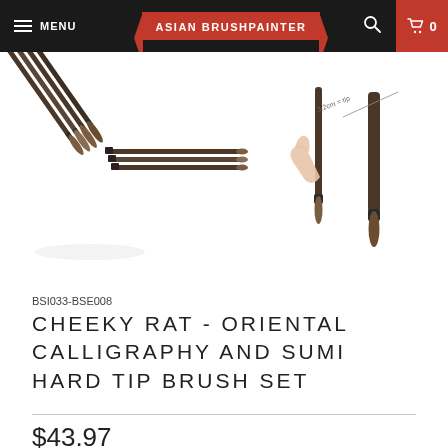MENU  ASIAN BRUSHPAINTER  0
[Figure (photo): Four calligraphy brushes shown from multiple angles: grouped together at an angle, laid flat side by side, a hand holding a single brush showing the tip, and a close-up of a brush tip with measurement annotation.]
BSI033-BSE008
CHEEKY RAT - ORIENTAL CALLIGRAPHY AND SUMI HARD TIP BRUSH SET
$43.97